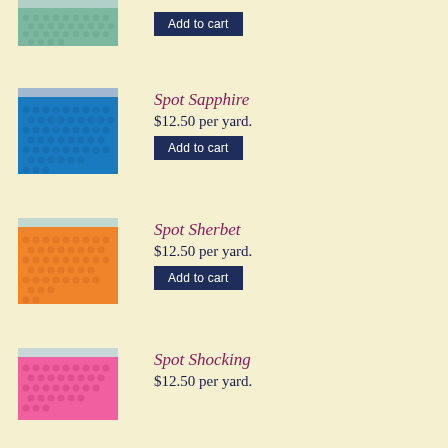[Figure (photo): Partial view of a teal/green polka dot fabric swatch at top of page]
[Figure (photo): Blue polka dot fabric swatch labeled Spot Sapphire]
Spot Sapphire
$12.50 per yard.
Add to cart
[Figure (photo): Orange polka dot fabric swatch labeled Spot Sherbet]
Spot Sherbet
$12.50 per yard.
Add to cart
[Figure (photo): Pink polka dot fabric swatch labeled Spot Shocking]
Spot Shocking
$12.50 per yard.
Add to cart
[Figure (photo): Silver/gray polka dot fabric swatch labeled Spot Silver]
Spot Silver
$12.50 per yard.
Add to cart
[Figure (photo): Partial view of a light blue polka dot fabric swatch labeled Spot Sky at bottom]
Spot Sky